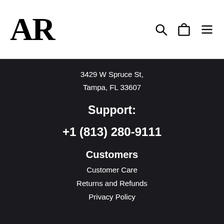[Figure (logo): AR brand logo in large serif font]
3429 W Spruce St,
Tampa, FL 33607
Support:
+1 (813) 280-9111
Customers
Customer Care
Returns and Refunds
Privacy Policy